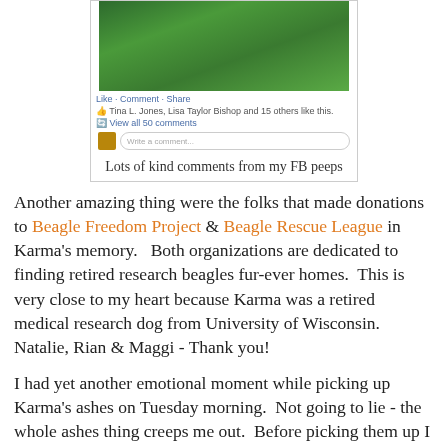[Figure (screenshot): Facebook post screenshot showing a green grassy image with Like/Comment/Share bar, like count, view comments link, and write a comment box]
Lots of kind comments from my FB peeps
Another amazing thing were the folks that made donations to Beagle Freedom Project & Beagle Rescue League in Karma's memory.   Both organizations are dedicated to finding retired research beagles fur-ever homes.  This is very close to my heart because Karma was a retired medical research dog from University of Wisconsin.  Natalie, Rian & Maggi - Thank you!
I had yet another emotional moment while picking up Karma's ashes on Tuesday morning.  Not going to lie - the whole ashes thing creeps me out.  Before picking them up I wanted to take them to Zilpo hiking trail & spread them in one of her favorite hiking places.  Surprisingly, once home with her ashes, I am OK & not creeped out by the fact she is sitting on the fireplace mantel in a box.  It is very possible I